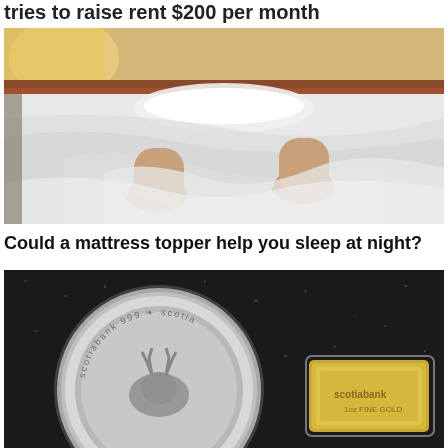tries to raise rent $200 per month
[Figure (photo): Person sleeping in bed, feet poking out from white sheets and blankets]
Could a mattress topper help you sleep at night?
[Figure (photo): Scotiabank silver coin and gold bar on dark granite surface]